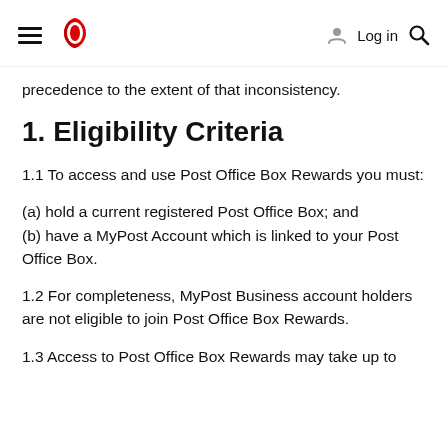≡  [Australia Post logo]   Log in  🔍
precedence to the extent of that inconsistency.
1. Eligibility Criteria
1.1 To access and use Post Office Box Rewards you must:
(a) hold a current registered Post Office Box; and
(b) have a MyPost Account which is linked to your Post Office Box.
1.2 For completeness, MyPost Business account holders are not eligible to join Post Office Box Rewards.
1.3 Access to Post Office Box Rewards may take up to